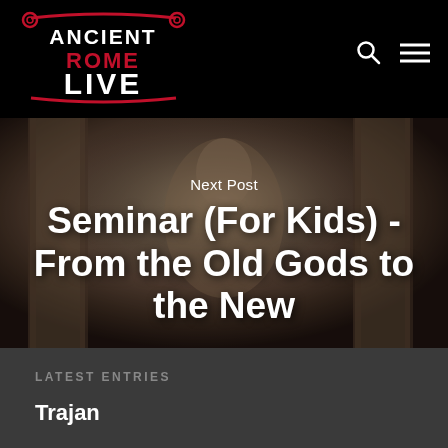[Figure (logo): Ancient Rome Live logo — white text with red decorative scroll/column motifs on black background]
[Figure (photo): Stone relief sculpture of a robed figure (deity or emperor) seated between columns, in muted brownish-gray tones, serving as hero image background]
Next Post
Seminar (For Kids) - From the Old Gods to the New
LATEST ENTRIES
Trajan